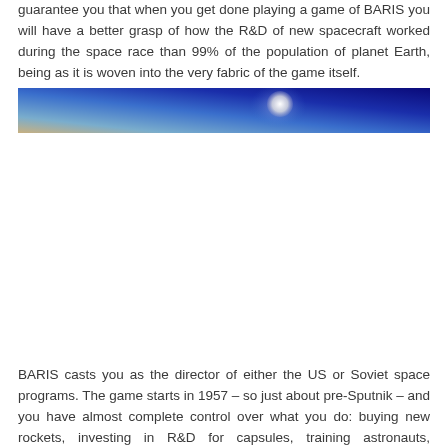guarantee you that when you get done playing a game of BARIS you will have a better grasp of how the R&D of new spacecraft worked during the space race than 99% of the population of planet Earth, being as it is woven into the very fabric of the game itself.
[Figure (photo): A wide horizontal banner image showing a space or sky scene — a gradient from sandy/tan at the lower left to deep blue at the upper right, with what appears to be a glowing moon or celestial body near the center-right.]
BARIS casts you as the director of either the US or Soviet space programs. The game starts in 1957 – so just about pre-Sputnik – and you have almost complete control over what you do: buying new rockets, investing in R&D for capsules, training astronauts, scheduling